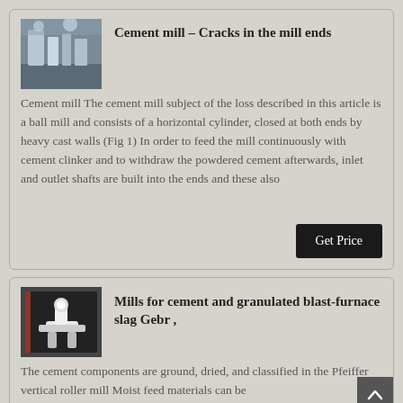[Figure (photo): Aerial view of a cement mill facility with industrial equipment and structures]
Cement mill – Cracks in the mill ends
Cement mill The cement mill subject of the loss described in this article is a ball mill and consists of a horizontal cylinder, closed at both ends by heavy cast walls (Fig 1) In order to feed the mill continuously with cement clinker and to withdraw the powdered cement afterwards, inlet and outlet shafts are built into the ends and these also
[Figure (photo): Close-up of industrial pipe/valve components in a cement mill]
Mills for cement and granulated blast-furnace slag Gebr ,
The cement components are ground, dried, and classified in the Pfeiffer vertical roller mill Moist feed materials can be